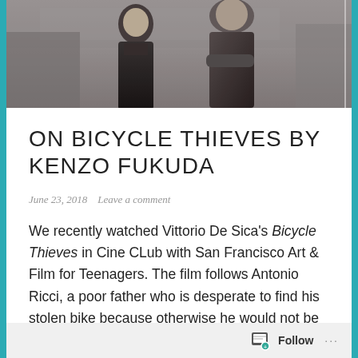[Figure (photo): Black and white photograph of two children, a young boy in dark clothing and another figure, appearing to be from mid-20th century Italy]
ON BICYCLE THIEVES BY KENZO FUKUDA
June 23, 2018   Leave a comment
We recently watched Vittorio De Sica's Bicycle Thieves in Cine CLub with San Francisco Art & Film for Teenagers. The film follows Antonio Ricci, a poor father who is desperate to find his stolen bike because otherwise he would not be able to keep his job. The film displays the economic crisis of post-World War II Italy, specifically in Rome, through the eyes of Ricci and also his son Bruno Ricci. This leads to a juxtaposition in the view of their